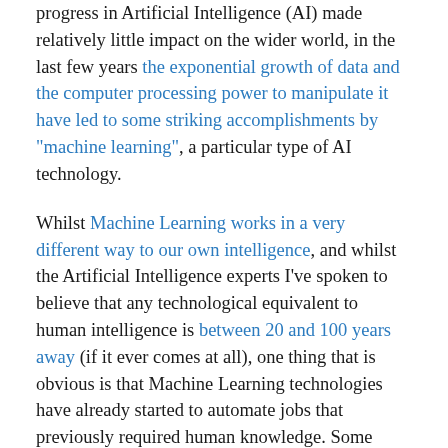progress in Artificial Intelligence (AI) made relatively little impact on the wider world, in the last few years the exponential growth of data and the computer processing power to manipulate it have led to some striking accomplishments by "machine learning", a particular type of AI technology.
Whilst Machine Learning works in a very different way to our own intelligence, and whilst the Artificial Intelligence experts I've spoken to believe that any technological equivalent to human intelligence is between 20 and 100 years away (if it ever comes at all), one thing that is obvious is that Machine Learning technologies have already started to automate jobs that previously required human knowledge. Some studies predict that nearly half of all jobs – including those in highly-skilled, highly-paid occupations such as medicine, the law and journalism-